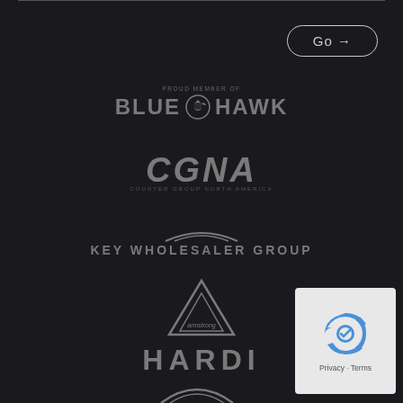[Figure (logo): Go → navigation button with rounded rectangle border in top right]
[Figure (logo): Blue Hawk logo - PROUD MEMBER OF text above, hawk icon in circle between BLUE and HAWK text, dark background, grey tones]
[Figure (logo): CGNA logo - large italic bold text, COUNTER GROUP NORTH AMERICA subtitle, grey on dark background]
[Figure (logo): Key Wholesaler Group logo - arc lines above text KEY WHOLESALER GROUP, grey on dark background]
[Figure (logo): Armstrong logo - triangle/delta symbol with armstrong text inside arc at bottom, grey on dark background]
[Figure (logo): HARDI logo - bold spaced text, grey on dark background]
[Figure (logo): Partial arc/chevron logo visible at very bottom center, grey on dark background]
[Figure (screenshot): reCAPTCHA widget in bottom right corner showing reCAPTCHA icon and Privacy - Terms text on white/light grey background]